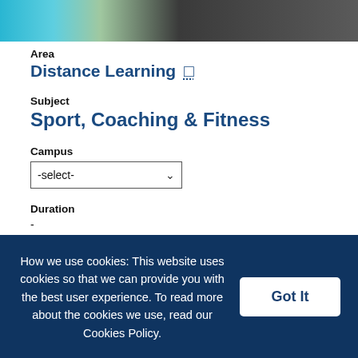[Figure (photo): Hero image showing fitness/sports items including a green apple and earphones on a dark background]
Area
Distance Learning
Subject
Sport, Coaching & Fitness
Campus
-select-
Duration
-
Cost
-
How we use cookies: This website uses cookies so that we can provide you with the best user experience. To read more about the cookies we use, read our Cookies Policy.